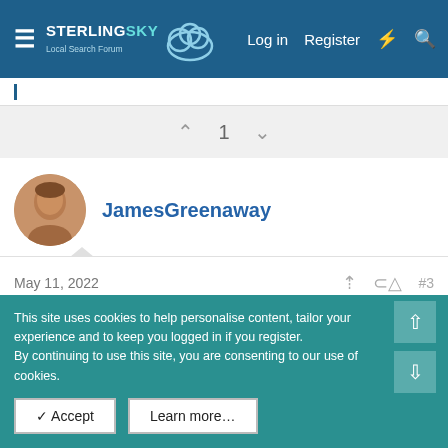Sterling Sky Local Search Forum — Log in | Register
1
JamesGreenaway
May 11, 2022  #3
Thanks @JoyHawkins, all understood. Ive already submitted feedback from the link on the knowledge panel. Didnt get very far.
This site uses cookies to help personalise content, tailor your experience and to keep you logged in if you register.
By continuing to use this site, you are consenting to our use of cookies.
✓ Accept    Learn more…